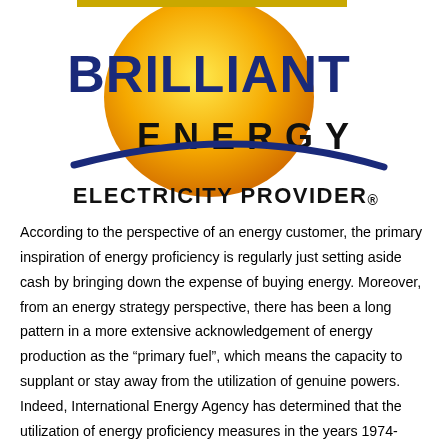[Figure (logo): Brilliant Energy Electricity Provider logo: orange/yellow circular sun shape with dark blue bold text 'BRILLIANT' arched on top, black bold spaced text 'ENERGY' across the middle, a dark navy swoosh arc below, and bold black text 'ELECTRICITY PROVIDER.' underneath.]
According to the perspective of an energy customer, the primary inspiration of energy proficiency is regularly just setting aside cash by bringing down the expense of buying energy. Moreover, from an energy strategy perspective, there has been a long pattern in a more extensive acknowledgement of energy production as the “primary fuel”, which means the capacity to supplant or stay away from the utilization of genuine powers. Indeed, International Energy Agency has determined that the utilization of energy proficiency measures in the years 1974-2010 …